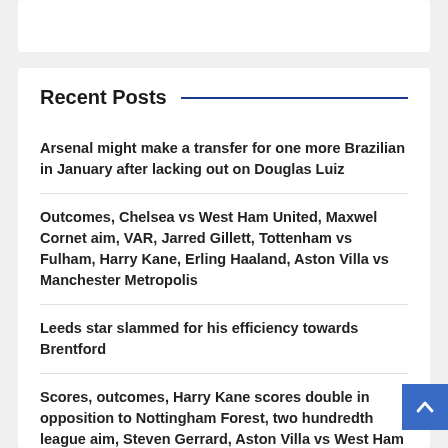Recent Posts
Arsenal might make a transfer for one more Brazilian in January after lacking out on Douglas Luiz
Outcomes, Chelsea vs West Ham United, Maxwel Cornet aim, VAR, Jarred Gillett, Tottenham vs Fulham, Harry Kane, Erling Haaland, Aston Villa vs Manchester Metropolis
Leeds star slammed for his efficiency towards Brentford
Scores, outcomes, Harry Kane scores double in opposition to Nottingham Forest, two hundredth league aim, Steven Gerrard, Aston Villa vs West Ham United, Alle…